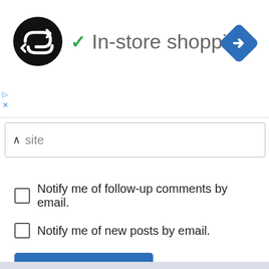[Figure (logo): Black circular logo with double arrow/loop symbol inside, representing a coding or redirect service]
✓ In-store shopping
[Figure (other): Blue diamond-shaped navigation icon with right-turn arrow]
▷
✕
site (input field with caret/chevron up icon)
Notify me of follow-up comments by email.
Notify me of new posts by email.
Post Comment
This site uses Akismet to reduce spam. Learn how your comment data is processed.